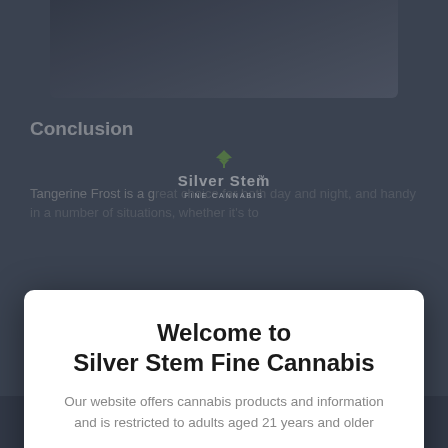[Figure (screenshot): Background website page showing Silver Stem Fine Cannabis logo and partial article text with 'Conclusion' heading, partially obscured by modal overlay]
Welcome to
Silver Stem Fine Cannabis
Our website offers cannabis products and information and is restricted to adults aged 21 years and older
Yes, I'm at least 21 years old or hold a valid Medical Marijuana Card
[Figure (infographic): Bottom navigation bar with home, store, cannabis leaf, deals, and cart icons]